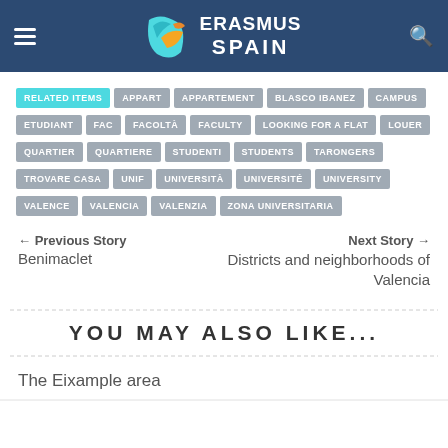ERASMUS SPAIN
RELATED ITEMS APPART APPARTEMENT BLASCO IBANEZ CAMPUS ETUDIANT FAC FACOLTÀ FACULTY LOOKING FOR A FLAT LOUER QUARTIER QUARTIERE STUDENTI STUDENTS TARONGERS TROVARE CASA UNIF UNIVERSITÀ UNIVERSITÉ UNIVERSITY VALENCE VALENCIA VALENZIA ZONA UNIVERSITARIA
← Previous Story
Benimaclet
Next Story →
Districts and neighborhoods of Valencia
YOU MAY ALSO LIKE...
The Eixample area